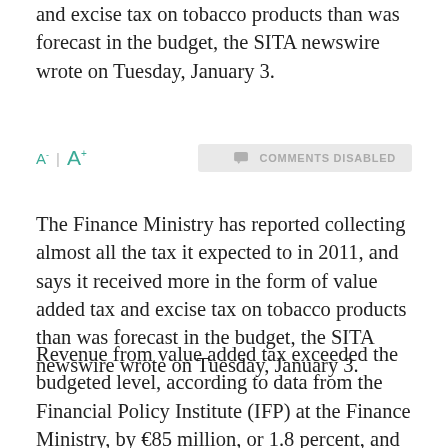and excise tax on tobacco products than was forecast in the budget, the SITA newswire wrote on Tuesday, January 3.
A- | A+   COMMENTS DISABLED
The Finance Ministry has reported collecting almost all the tax it expected to in 2011, and says it received more in the form of value added tax and excise tax on tobacco products than was forecast in the budget, the SITA newswire wrote on Tuesday, January 3.
Revenue from value added tax exceeded the budgeted level, according to data from the Financial Policy Institute (IFP) at the Finance Ministry, by €85 million, or 1.8 percent, and collection of excise tax on tobacco products exceeded the budget by nearly €5 million, or 8.8 percent. Overall tax revenue reached